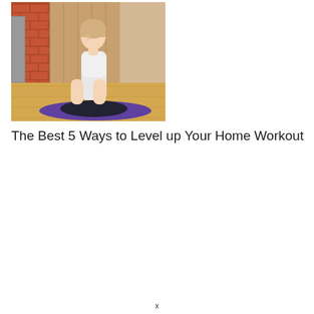[Figure (photo): A woman in workout attire (white sports bra, black leggings) kneeling on a purple yoga mat on a wooden floor, with a brick wall and wooden panels in the background.]
The Best 5 Ways to Level up Your Home Workout
x